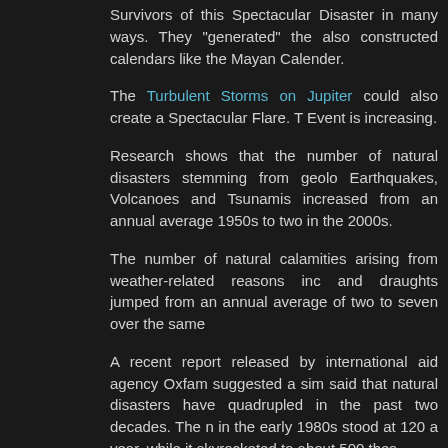Survivors of this Spectacular Disaster in many ways. They "generated" the also constructed calendars like the Mayan Calender.
The Turbulent Storms on Jupiter could also create a Spectacular Flare. Event is increasing.
Research shows that the number of natural disasters stemming from geolo Earthquakes, Volcanoes and Tsunamis increased from an annual average 1950s to two in the 2000s.
The number of natural calamities arising from weather-related reasons inc and draughts jumped from an annual average of two to seven over the same
A recent report released by international aid agency Oxfam suggested a sim said that natural disasters have quadrupled in the past two decades. The n in the early 1980s stood at 120 a year, while it skyrocketed to about 500 thes
Unfortunately, Asia has been the hardest-hit area. About 800 cases of n occurred in the Asian region since 2001. In particular, the most populou Indonesia, China and India, suffered the biggest damage.
All three countries are sitting on fault lines. A number of mountains and riv are prone to landslides and floods. Moreover, the coastal areas are direct storms.
The United States has suffered 222 cases of natural disasters since 200 country has been frequently battered by capricious and unpredictable natu hurricanes and tornadoes. Although the number of Hurricane Katrina victims